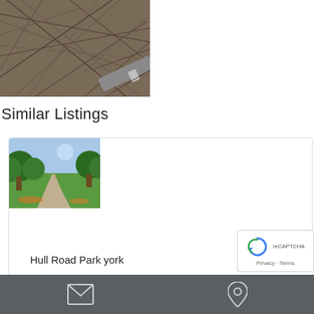[Figure (photo): Close-up photo of tangled dry twigs/branches with what appears to be a knife or tool partially visible at the bottom right]
Similar Listings
[Figure (photo): Photo of a park pathway with green grass and trees, autumnal leaves on the ground — Hull Road Park york]
Hull Road Park york
Email icon and Location pin icon on dark grey bar